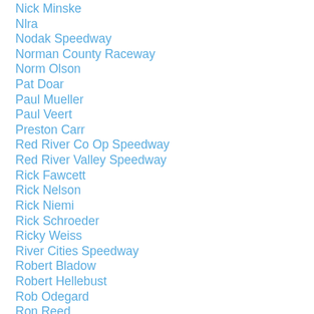Nick Minske
Nlra
Nodak Speedway
Norman County Raceway
Norm Olson
Pat Doar
Paul Mueller
Paul Veert
Preston Carr
Red River Co Op Speedway
Red River Valley Speedway
Rick Fawcett
Rick Nelson
Rick Niemi
Rick Schroeder
Ricky Weiss
River Cities Speedway
Robert Bladow
Robert Hellebust
Rob Odegard
Ron Reed